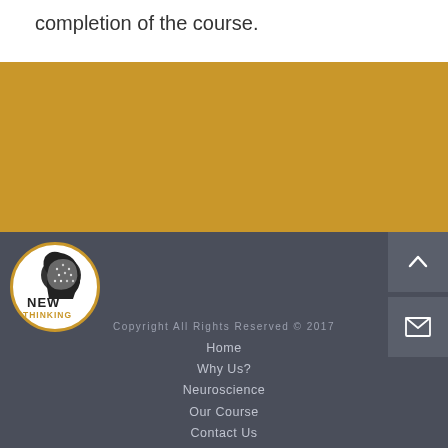completion of the course.
[Figure (illustration): Gold/yellow colored banner section]
[Figure (logo): New Thinking logo: circular logo with brain silhouette, text NEW THINKING]
Copyright All Rights Reserved © 2017
Home
Why Us?
Neuroscience
Our Course
Contact Us